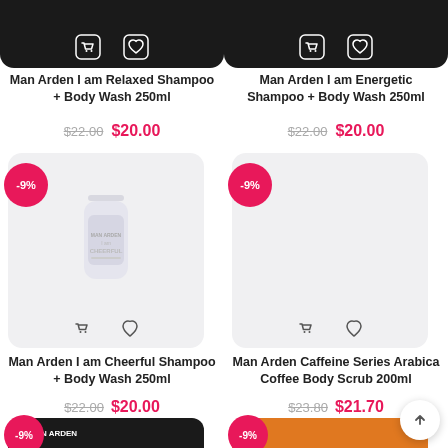[Figure (screenshot): Partial product card top — Man Arden I am Relaxed Shampoo + Body Wash 250ml, dark product image bottom showing cart and wishlist icons]
[Figure (screenshot): Partial product card top — Man Arden I am Energetic Shampoo + Body Wash 250ml, dark product image bottom showing cart and wishlist icons]
Man Arden I am Relaxed Shampoo + Body Wash 250ml
$22.00  $20.00
Man Arden I am Energetic Shampoo + Body Wash 250ml
$22.00  $20.00
[Figure (photo): -9% badge, white bottle product image for Man Arden I am Cheerful Shampoo + Body Wash 250ml with cart and heart icons]
[Figure (photo): -9% badge, empty product area for Man Arden Caffeine Series Arabica Coffee Body Scrub 200ml with cart and heart icons]
Man Arden I am Cheerful Shampoo + Body Wash 250ml
$22.00  $20.00
Man Arden Caffeine Series Arabica Coffee Body Scrub 200ml
$23.80  $21.70
[Figure (photo): -9% badge, partial bottom image showing Man Arden branded black box with brush product]
[Figure (photo): -9% badge, partial bottom image of another product]